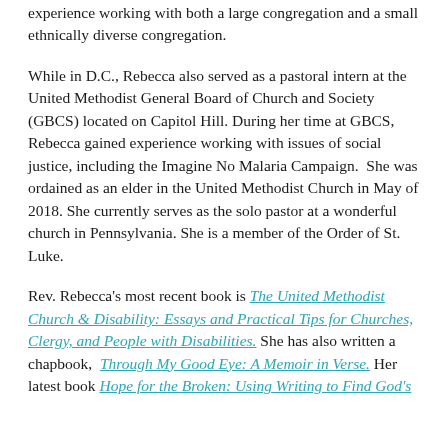experience working with both a large congregation and a small ethnically diverse congregation.
While in D.C., Rebecca also served as a pastoral intern at the United Methodist General Board of Church and Society (GBCS) located on Capitol Hill. During her time at GBCS, Rebecca gained experience working with issues of social justice, including the Imagine No Malaria Campaign.  She was ordained as an elder in the United Methodist Church in May of 2018. She currently serves as the solo pastor at a wonderful church in Pennsylvania. She is a member of the Order of St. Luke.
Rev. Rebecca's most recent book is The United Methodist Church & Disability: Essays and Practical Tips for Churches, Clergy, and People with Disabilities. She has also written a chapbook, Through My Good Eye: A Memoir in Verse. Her latest book Hope for the Broken: Using Writing to Find God's